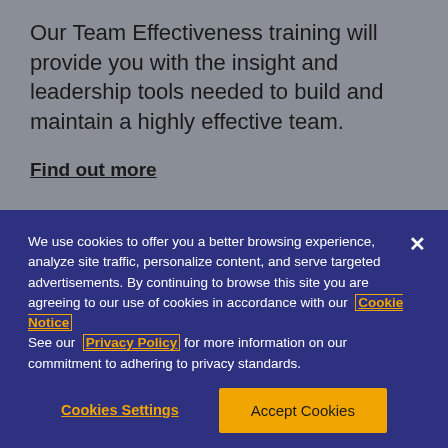Our Team Effectiveness training will provide you with the insight and leadership tools needed to build and maintain a highly effective team.
Find out more
We use cookies to offer you a better browsing experience, analyze site traffic, personalize content, and serve targeted advertisements. By continuing to browse this site you are agreeing to our use of cookies in accordance with our Cookie Notice See our Privacy Policy for more information on our commitment to adhering to privacy standards.
Cookies Settings
Accept Cookies